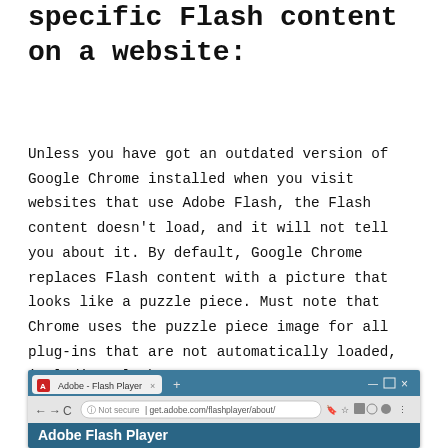specific Flash content on a website:
Unless you have got an outdated version of Google Chrome installed when you visit websites that use Adobe Flash, the Flash content doesn't load, and it will not tell you about it. By default, Google Chrome replaces Flash content with a picture that looks like a puzzle piece. Must note that Chrome uses the puzzle piece image for all plug-ins that are not automatically loaded, including Flash.
[Figure (screenshot): Screenshot of Google Chrome browser showing Adobe Flash Player page at get.adobe.com/flashplayer/about/ with the browser interface including tab bar, address bar showing 'Not secure' warning, and the beginning of the Adobe Flash Player page header.]